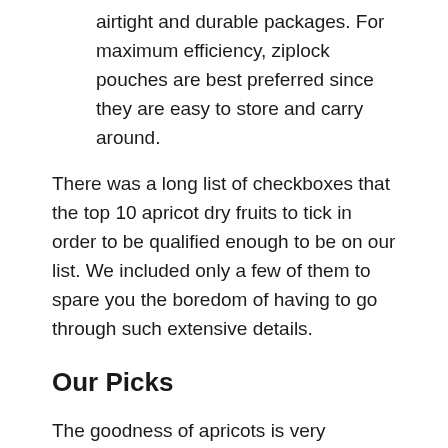airtight and durable packages. For maximum efficiency, ziplock pouches are best preferred since they are easy to store and carry around.
There was a long list of checkboxes that the top 10 apricot dry fruits to tick in order to be qualified enough to be on our list. We included only a few of them to spare you the boredom of having to go through such extensive details.
Our Picks
The goodness of apricots is very effective when added to our regular diet. With so many people interested in including such high amounts of nutrients in their menu, we were glad to take up the responsibility of assisting them to choose the best brand out there.